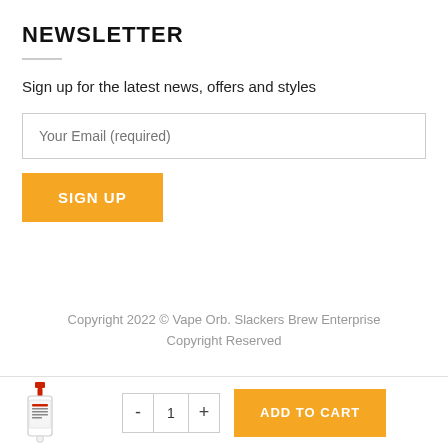NEWSLETTER
Sign up for the latest news, offers and styles
[Figure (other): Email input field with placeholder text 'Your Email (required)']
[Figure (other): Orange 'SIGN UP' button]
Copyright 2022 © Vape Orb. Slackers Brew Enterprise Copyright Reserved
[Figure (other): Bottom bar with product bottle image, quantity selector showing 1 with minus and plus buttons, and orange ADD TO CART button]